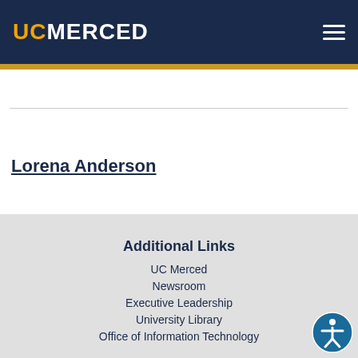UC MERCED
Lorena Anderson
Additional Links
UC Merced
Newsroom
Executive Leadership
University Library
Office of Information Technology